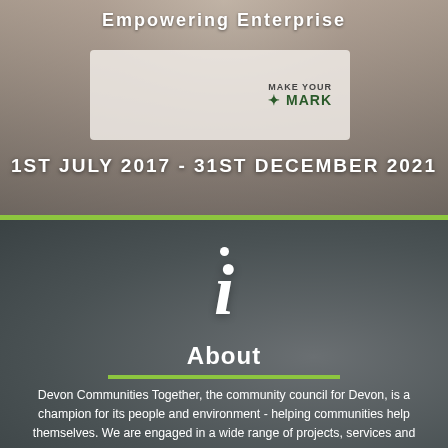Empowering Enterprise
1ST JULY 2017 - 31ST DECEMBER 2021
[Figure (photo): Photo of a person holding a card or box with 'Make Your Mark' branding visible, overlaid with date text]
About
Devon Communities Together, the community council for Devon, is a champion for its people and environment - helping communities help themselves. We are engaged in a wide range of projects, services and funding opportunities that support our vision of dynamic communities shaping their own futures.